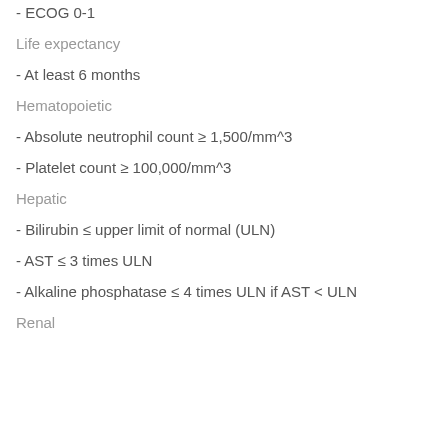- ECOG 0-1
Life expectancy
- At least 6 months
Hematopoietic
- Absolute neutrophil count ≥ 1,500/mm^3
- Platelet count ≥ 100,000/mm^3
Hepatic
- Bilirubin ≤ upper limit of normal (ULN)
- AST ≤ 3 times ULN
- Alkaline phosphatase ≤ 4 times ULN if AST < ULN
Renal